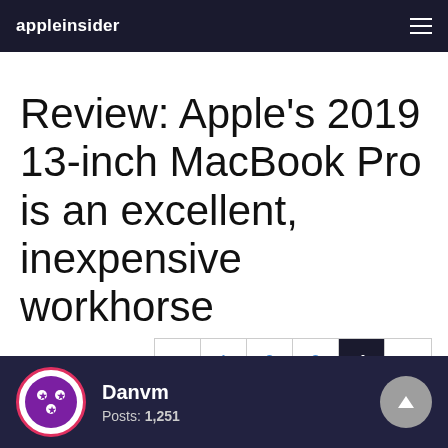appleinsider
Review: Apple's 2019 13-inch MacBook Pro is an excellent, inexpensive workhorse
« 1 2 3 4 »
Danvm
Posts: 1,251